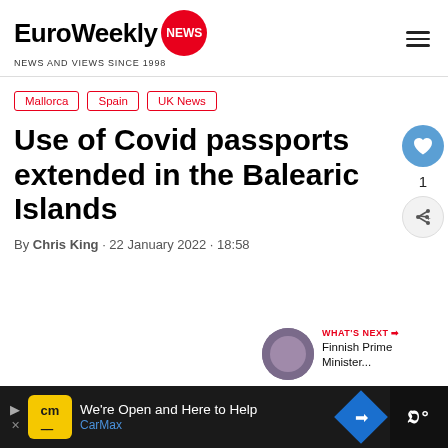EuroWeekly NEWS · NEWS AND VIEWS SINCE 1998
Mallorca
Spain
UK News
Use of Covid passports extended in the Balearic Islands
By Chris King · 22 January 2022 · 18:58
[Figure (other): What's Next thumbnail: Finnish Prime Minister article]
WHAT'S NEXT → Finnish Prime Minister...
[Figure (other): CarMax advertisement banner: We're Open and Here to Help]